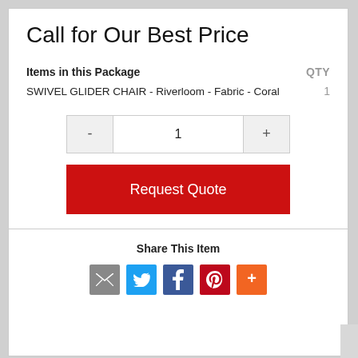Call for Our Best Price
Items in this Package   QTY
SWIVEL GLIDER CHAIR - Riverloom - Fabric - Coral   1
- 1 +
Request Quote
Share This Item
[Figure (infographic): Social sharing icons: email (grey), Twitter (blue), Facebook (dark blue), Pinterest (red), More/plus (orange)]